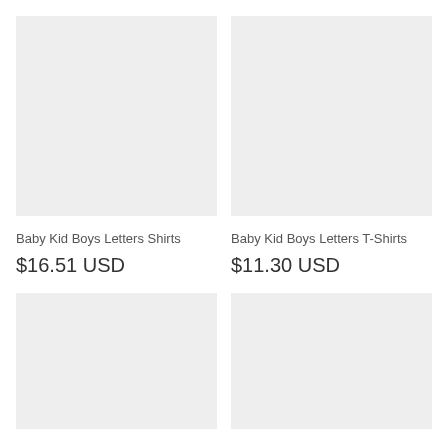[Figure (photo): Product image placeholder for Baby Kid Boys Letters Shirts (top left, light gray background)]
[Figure (photo): Product image placeholder for Baby Kid Boys Letters T-Shirts (top right, light gray background)]
Baby Kid Boys Letters Shirts
$16.51 USD
Baby Kid Boys Letters T-Shirts
$11.30 USD
[Figure (photo): Product image placeholder bottom left (light gray background, partially cut off)]
[Figure (photo): Product image placeholder bottom right (light gray background, partially cut off)]